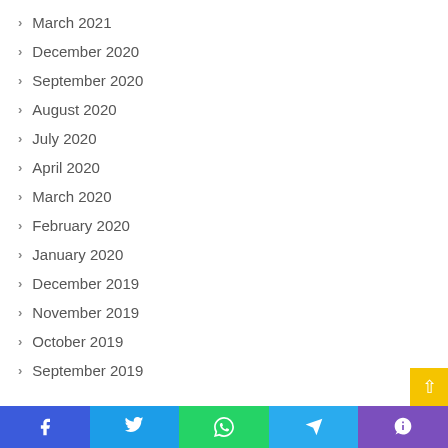March 2021
December 2020
September 2020
August 2020
July 2020
April 2020
March 2020
February 2020
January 2020
December 2019
November 2019
October 2019
September 2019